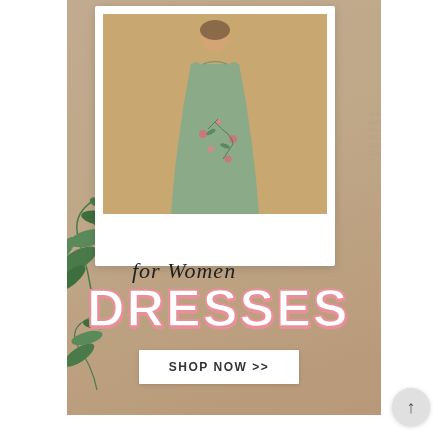[Figure (photo): Social media advertisement for women's dresses. Features a polaroid-style photo of a woman wearing a green floral embroidered dress against a warm beige/tan background, with decorative green leaves on the left, cursive text 'for Women', large bold text 'DRESSES' with pink shadow/outline, and a 'SHOP NOW >>' button below.]